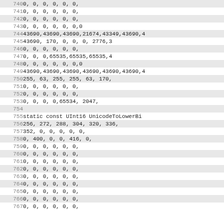| 740 | 0,      0,      0,      0,      0,      0, |
| 741 | 0,      0,      0,      0,      0,      0, |
| 742 | 0,      0,      0,      0,      0,      0, |
| 743 | 0,      0,      0,      0,      0,      0,0 |
| 744 | 43690,43690,43690,21674,43349,43690,4 |
| 745 | 43690,    170,      0,      0,      0, 2776,3 |
| 746 | 0,      0,      0,      0,      0,      0, |
| 747 | 0,      0,   0,65535,65535,65535,4 |
| 748 | 0,      0,      0,      0,      0,      0,0 |
| 749 | 43690,43690,43690,43690,43690,43690,4 |
| 750 | 255,     63,    255,    255,     63,    170, |
| 751 | 0,      0,      0,      0,      0,      0, |
| 752 | 0,      0,      0,      0,      0,      0, |
| 753 | 0,      0,      0,   0,65534,  2047, |
| 754 |  |
| 755 | static const UInt16 UnicodeToLowerBi |
| 756 | 256,    272,    288,    304,    320,    336, |
| 757 | 352,      0,      0,      0,      0,      0, |
| 758 | 0,    400,      0,      0,    416,      0, |
| 759 | 0,      0,      0,      0,      0,      0, |
| 760 | 0,      0,      0,      0,      0,      0, |
| 761 | 0,      0,      0,      0,      0,      0, |
| 762 | 0,      0,      0,      0,      0,      0, |
| 763 | 0,      0,      0,      0,      0,      0, |
| 764 | 0,      0,      0,      0,      0,      0, |
| 765 | 0,      0,      0,      0,      0,      0, |
| 766 | 0,      0,      0,      0,      0,      0, |
| 767 | 0,      0,      0,      0,      0,      0, |